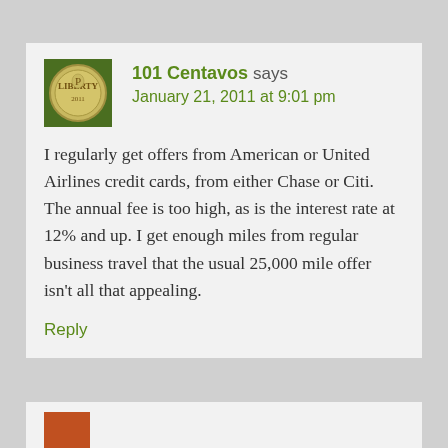101 Centavos says
January 21, 2011 at 9:01 pm
I regularly get offers from American or United Airlines credit cards, from either Chase or Citi. The annual fee is too high, as is the interest rate at 12% and up. I get enough miles from regular business travel that the usual 25,000 mile offer isn't all that appealing.
Reply